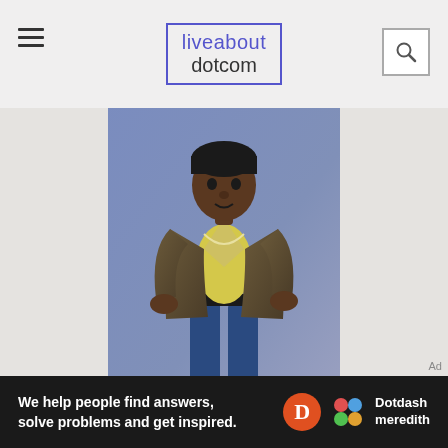liveabout dotcom
michael jackson
[Figure (photo): Michael Jackson standing in a pose wearing a brown leather jacket, yellow t-shirt, jeans, and a black beanie hat, against a purple/blue gradient background]
Ad
We help people find answers, solve problems and get inspired.  Dotdash meredith